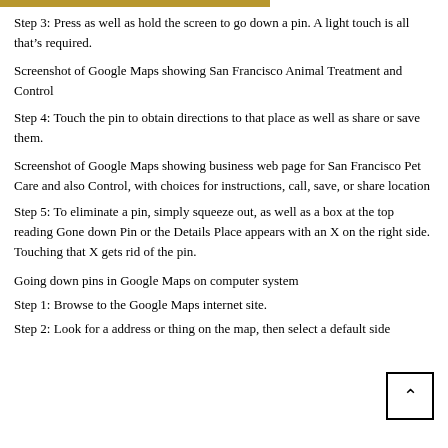Step 3: Press as well as hold the screen to go down a pin. A light touch is all that’s required.
Screenshot of Google Maps showing San Francisco Animal Treatment and Control
Step 4: Touch the pin to obtain directions to that place as well as share or save them.
Screenshot of Google Maps showing business web page for San Francisco Pet Care and also Control, with choices for instructions, call, save, or share location
Step 5: To eliminate a pin, simply squeeze out, as well as a box at the top reading Gone down Pin or the Details Place appears with an X on the right side. Touching that X gets rid of the pin.
Going down pins in Google Maps on computer system
Step 1: Browse to the Google Maps internet site.
Step 2: Look for a address or thing on the map, then select a default side